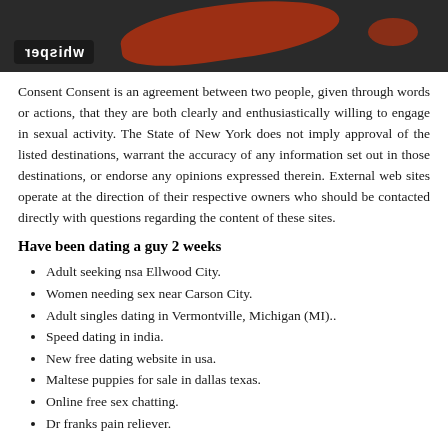[Figure (photo): A dark-toned image with a red blob/splash shape and a reversed 'whisper' label in the lower left on a dark background.]
Consent Consent is an agreement between two people, given through words or actions, that they are both clearly and enthusiastically willing to engage in sexual activity. The State of New York does not imply approval of the listed destinations, warrant the accuracy of any information set out in those destinations, or endorse any opinions expressed therein. External web sites operate at the direction of their respective owners who should be contacted directly with questions regarding the content of these sites.
Have been dating a guy 2 weeks
Adult seeking nsa Ellwood City.
Women needing sex near Carson City.
Adult singles dating in Vermontville, Michigan (MI)..
Speed dating in india.
New free dating website in usa.
Maltese puppies for sale in dallas texas.
Online free sex chatting.
Dr franks pain reliever.